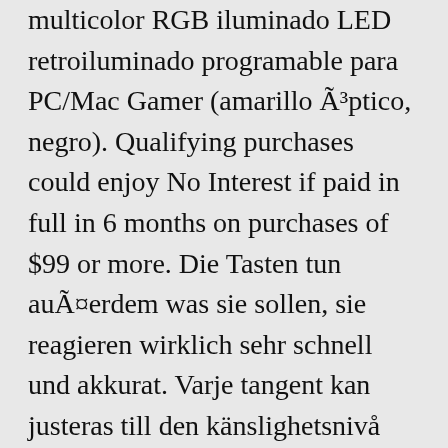multicolor RGB iluminado LED retroiluminado programable para PC/Mac Gamer (amarillo Ã³ptico, negro). Qualifying purchases could enjoy No Interest if paid in full in 6 months on purchases of $99 or more. Die Tasten tun auÃ¤erdem was sie sollen, sie reagieren wirklich sehr schnell und akkurat. Varje tangent kan justeras till den känslighetsnivå som du föredrar, ... Havit Keycaps 60 87 104 - Juego de teclas de doble disparo retroiluminado PBT con e... Redragon K582 SURARA RGB LED retroiluminado teclado mecÃ¡nico para juegos con 104 te... Drop CTRL Teclado mecÃ¡nico â□□ Teclado para juegos sin tenkeyless TKL (87 teclas), in... Qisan Teclado mecÃ¡nico para juegos con